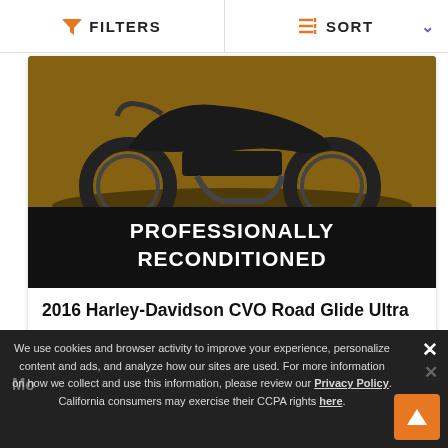FILTERS  SORT
[Figure (photo): Harley-Davidson motorcycle listing image with 'PROFESSIONALLY RECONDITIONED' overlay text]
2016 Harley-Davidson CVO Road Glide Ultra
$26,990
Miles  27,431
1  2
We use cookies and browser activity to improve your experience, personalize content and ads, and analyze how our sites are used. For more information on how we collect and use this information, please review our Privacy Policy. California consumers may exercise their CCPA rights here.